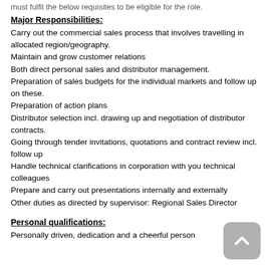must fulfil the below requisites to be eligible for the role.
Major Responsibilities:
Carry out the commercial sales process that involves travelling in allocated region/geography.
Maintain and grow customer relations
Both direct personal sales and distributor management.
Preparation of sales budgets for the individual markets and follow up on these.
Preparation of action plans
Distributor selection incl. drawing up and negotiation of distributor contracts.
Going through tender invitations, quotations and contract review incl. follow up
Handle technical clarifications in corporation with you technical colleagues
Prepare and carry out presentations internally and externally
Other duties as directed by supervisor: Regional Sales Director
Personal qualifications:
Personally driven, dedication and a cheerful person